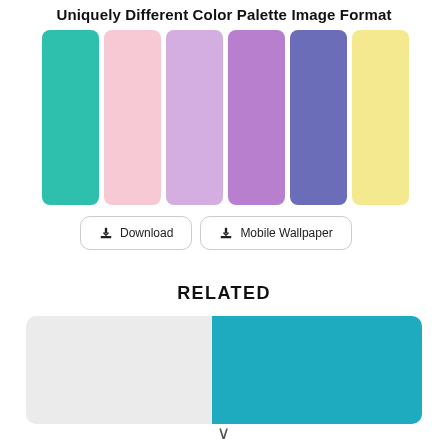Uniquely Different Color Palette Image Format
[Figure (infographic): Six vertical color swatches: teal/green, light pink, light purple, medium purple, blue-purple, light yellow]
[Figure (infographic): Two buttons: Download and Mobile Wallpaper]
RELATED
[Figure (infographic): Two-color horizontal palette: light gray on left, teal on right]